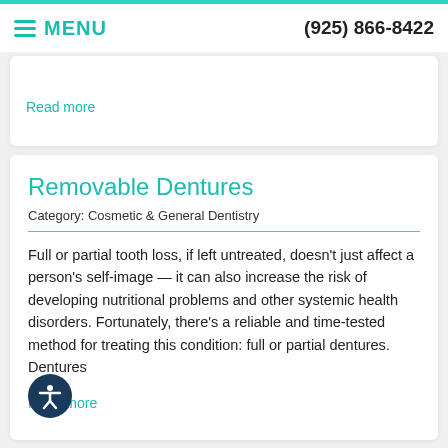is a safe, effective way to brighten
≡ MENU    (925) 866-8422
Read more
Removable Dentures
Category: Cosmetic & General Dentistry
Full or partial tooth loss, if left untreated, doesn't just affect a person's self-image — it can also increase the risk of developing nutritional problems and other systemic health disorders. Fortunately, there's a reliable and time-tested method for treating this condition: full or partial dentures. Dentures
Read more